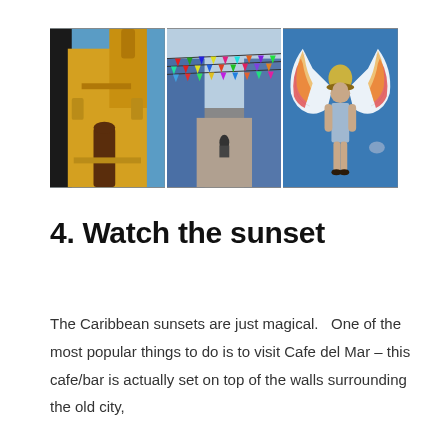[Figure (photo): Three-panel photo collage: left panel shows a yellow colonial church building against blue sky; center panel shows a colorful street with flags/bunting hanging overhead and blue walls; right panel shows a woman in a blue dress standing in front of a blue wall with a painted colorful angel wings mural.]
4. Watch the sunset
The Caribbean sunsets are just magical.   One of the most popular things to do is to visit Cafe del Mar – this cafe/bar is actually set on top of the walls surrounding the old city,